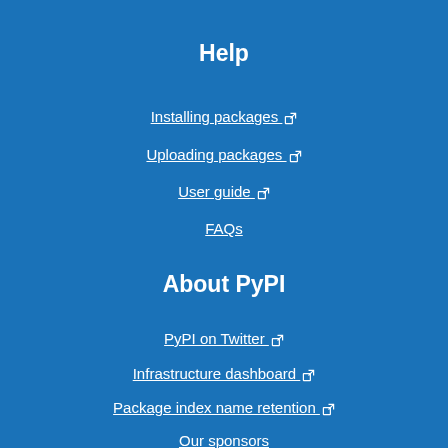Help
Installing packages ↗
Uploading packages ↗
User guide ↗
FAQs
About PyPI
PyPI on Twitter ↗
Infrastructure dashboard ↗
Package index name retention ↗
Our sponsors
Contributing to PyPI